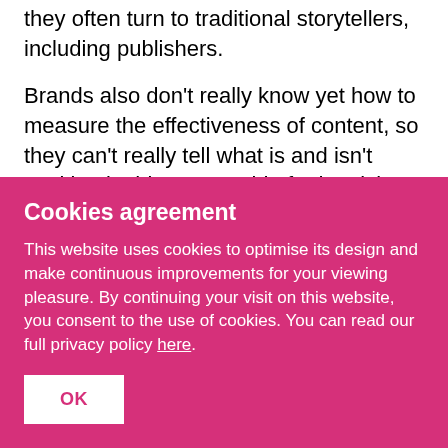create or deploy high-quality content, so they often turn to traditional storytellers, including publishers.
Brands also don't really know yet how to measure the effectiveness of content, so they can't really tell what is and isn't working in this new world of advertising. The publishers, on the other hand, are either clueless and uncaring about separating edit from ads (Buzzfeed, for example) or
Cookies agreement
This website uses cookies to optimise its design and make continuous improvements for your viewing pleasure. By continuing your visit on this website, you consent to the use of cookies. You can read our full privacy policy here.